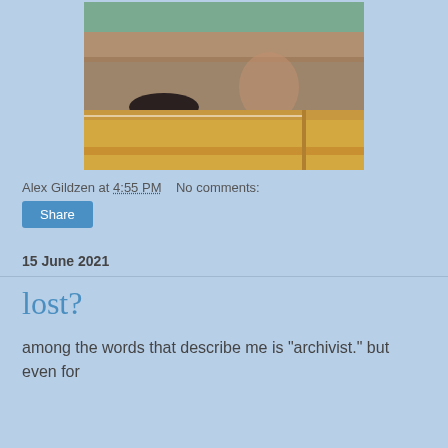[Figure (photo): A close-up photo looking through a wooden-framed window showing trees and a courtyard outside, with a reflection of a person visible in the glass, and a dark object (possibly a hat) resting on the wooden window sill.]
Alex Gildzen at 4:55 PM    No comments:
[Figure (other): Share button — a blue rounded rectangle with white text 'Share']
15 June 2021
lost?
among the words that describe me is "archivist." but even for